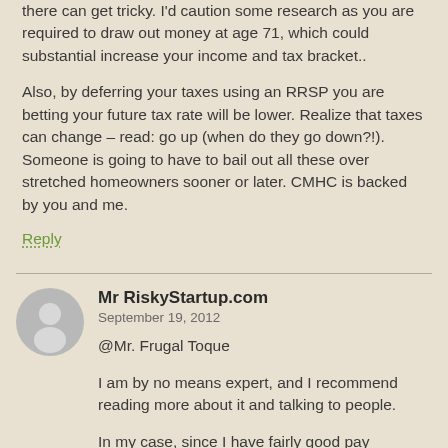there can get tricky. I'd caution some research as you are required to draw out money at age 71, which could substantial increase your income and tax bracket..
Also, by deferring your taxes using an RRSP you are betting your future tax rate will be lower. Realize that taxes can change – read: go up (when do they go down?!). Someone is going to have to bail out all these over stretched homeowners sooner or later. CMHC is backed by you and me.
Reply
Mr RiskyStartup.com
September 19, 2012
@Mr. Frugal Toque
I am by no means expert, and I recommend reading more about it and talking to people.
In my case, since I have fairly good pay currently (around 110K in average year, my wife adds 10K more), but plan to retire "early" (in about 10 years when I turn 51-52) and leave